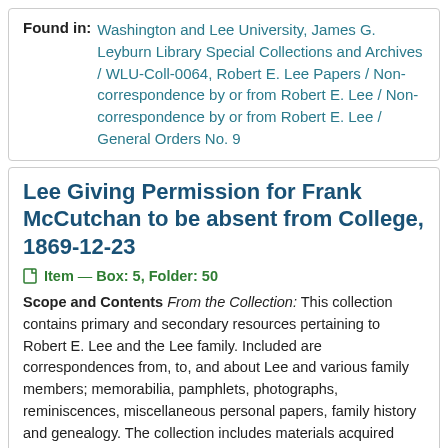Found in: Washington and Lee University, James G. Leyburn Library Special Collections and Archives / WLU-Coll-0064, Robert E. Lee Papers / Non-correspondence by or from Robert E. Lee / Non-correspondence by or from Robert E. Lee / General Orders No. 9
Lee Giving Permission for Frank McCutchan to be absent from College, 1869-12-23
Item — Box: 5, Folder: 50
Scope and Contents From the Collection: This collection contains primary and secondary resources pertaining to Robert E. Lee and the Lee family. Included are correspondences from, to, and about Lee and various family members; memorabilia, pamphlets, photographs, reminiscences, miscellaneous personal papers, family history and genealogy. The collection includes materials acquired from the Lee family and items donated to and purchased and compiled by W&L University